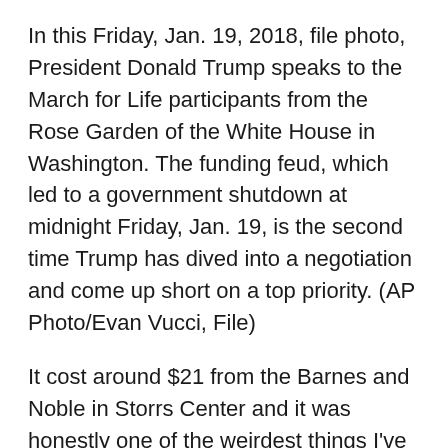In this Friday, Jan. 19, 2018, file photo, President Donald Trump speaks to the March for Life participants from the Rose Garden of the White House in Washington. The funding feud, which led to a government shutdown at midnight Friday, Jan. 19, is the second time Trump has dived into a negotiation and come up short on a top priority. (AP Photo/Evan Vucci, File)
It cost around $21 from the Barnes and Noble in Storrs Center and it was honestly one of the weirdest things I've read in my 22 years.
“Fire and Fury: Inside the Trump White House” by Michael Wolff gives a summary about what occurred inside the Trump administration from the time right before the elections to the ousting of Senior advisor Steve Bannon. To put into context how crazy this book is, my editor asked